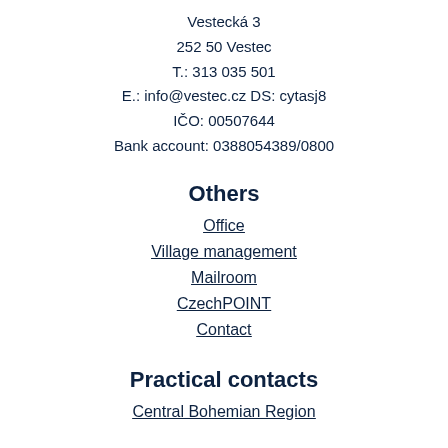Vestecká 3
252 50 Vestec
T.: 313 035 501
E.: info@vestec.cz DS: cytasj8
IČO: 00507644
Bank account: 0388054389/0800
Others
Office
Village management
Mailroom
CzechPOINT
Contact
Practical contacts
Central Bohemian Region